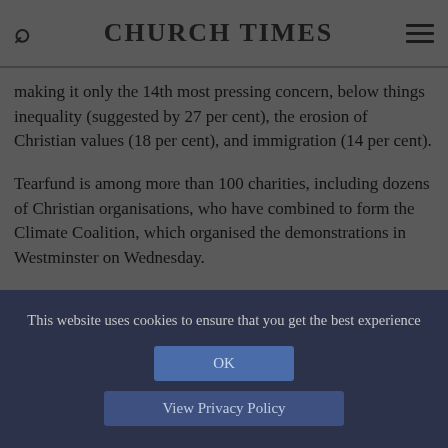CHURCH TIMES
making it only the 14th most pressing concern, below things inequality (suggested by 27 per cent), the erosion of Christian values (18 per cent), and immigration (14 per cent).
Tearfund is among more than 100 charities, including dozens of Christian organisations, who have combined to form the Climate Coalition, which organised the demonstrations in Westminster on Wednesday.
As well as calling on the Government to support a global
This website uses cookies to ensure that you get the best experience
OK
View Privacy Policy